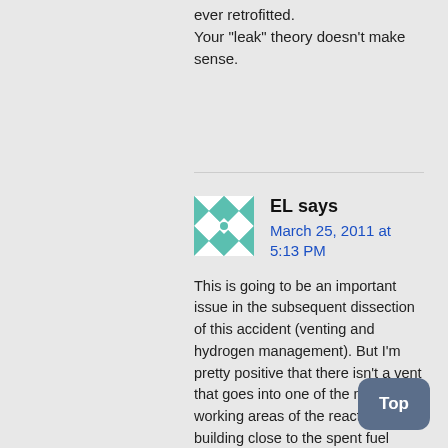ever retrofitted. Your "leak" theory doesn't make sense.
EL says
March 25, 2011 at 5:13 PM
This is going to be an important issue in the subsequent dissection of this accident (venting and hydrogen management). But I'm pretty positive that there isn't a vent that goes into one of the main working areas of the reactor building close to the spent fuel pools and near the servicing hatch for the